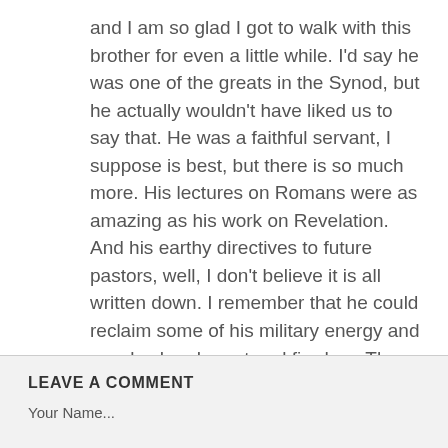and I am so glad I got to walk with this brother for even a little while. I'd say he was one of the greats in the Synod, but he actually wouldn't have liked us to say that. He was a faithful servant, I suppose is best, but there is so much more. His lectures on Romans were as amazing as his work on Revelation. And his earthy directives to future pastors, well, I don't believe it is all written down. I remember that he could reclaim some of his military energy and vocab when he got real fired up. There are many of us who have remained in ministry and subdued the urge to quit because of this man's example. SDG
LEAVE A COMMENT
Your Name...